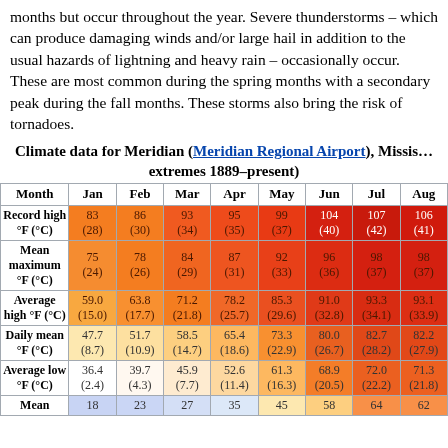months but occur throughout the year. Severe thunderstorms – which can produce damaging winds and/or large hail in addition to the usual hazards of lightning and heavy rain – occasionally occur. These are most common during the spring months with a secondary peak during the fall months. These storms also bring the risk of tornadoes.
Climate data for Meridian (Meridian Regional Airport), Mississippi; extremes 1889–present
| Month | Jan | Feb | Mar | Apr | May | Jun | Jul | Aug |
| --- | --- | --- | --- | --- | --- | --- | --- | --- |
| Record high °F (°C) | 83 (28) | 86 (30) | 93 (34) | 95 (35) | 99 (37) | 104 (40) | 107 (42) | 106 (41) |
| Mean maximum °F (°C) | 75 (24) | 78 (26) | 84 (29) | 87 (31) | 92 (33) | 96 (36) | 98 (37) | 98 (37) |
| Average high °F (°C) | 59.0 (15.0) | 63.8 (17.7) | 71.2 (21.8) | 78.2 (25.7) | 85.3 (29.6) | 91.0 (32.8) | 93.3 (34.1) | 93.1 (33.9) |
| Daily mean °F (°C) | 47.7 (8.7) | 51.7 (10.9) | 58.5 (14.7) | 65.4 (18.6) | 73.3 (22.9) | 80.0 (26.7) | 82.7 (28.2) | 82.2 (27.9) |
| Average low °F (°C) | 36.4 (2.4) | 39.7 (4.3) | 45.9 (7.7) | 52.6 (11.4) | 61.3 (16.3) | 68.9 (20.5) | 72.0 (22.2) | 71.3 (21.8) |
| Mean minimum °F (°C) | 18 | 23 | 27 | 35 | 45 | 58 | 64 | 62 |